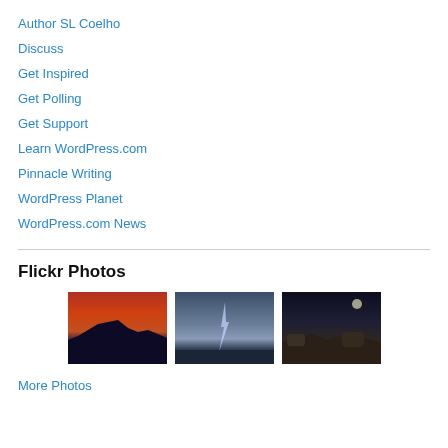Author SL Coelho
Discuss
Get Inspired
Get Polling
Get Support
Learn WordPress.com
Pinnacle Writing
WordPress Planet
WordPress.com News
Flickr Photos
[Figure (photo): Three Flickr photo thumbnails: a red/orange sunset over dark mountains, a stormy sky with lightning over water, and a night scene with rocks and moonlight.]
More Photos